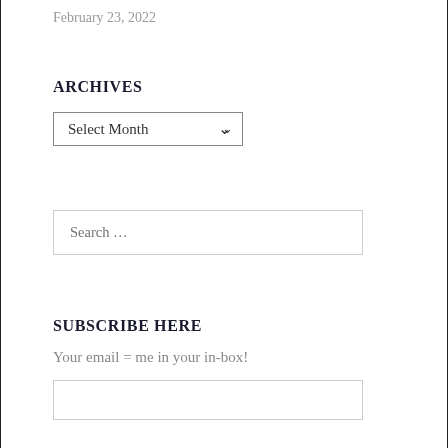February 23, 2022
ARCHIVES
Select Month
Search ...
SUBSCRIBE HERE
Your email = me in your in-box!